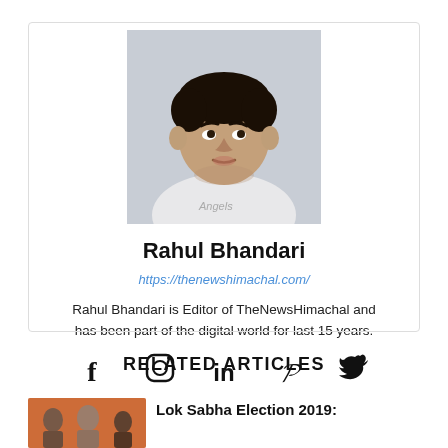[Figure (photo): Portrait photo of Rahul Bhandari, a man looking upward, wearing a white shirt, against a light background]
Rahul Bhandari
https://thenewshimachal.com/
Rahul Bhandari is Editor of TheNewsHimachal and has been part of the digital world for last 15 years.
[Figure (illustration): Social media icons: Facebook, Instagram, LinkedIn, Pinterest, Twitter]
RELATED ARTICLES
[Figure (photo): Thumbnail image showing people, related to Lok Sabha Election 2019 article]
Lok Sabha Election 2019: